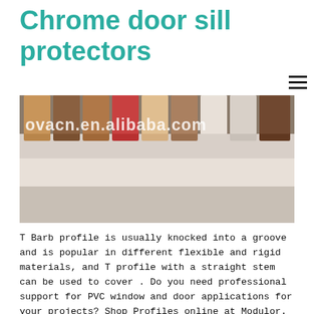Chrome door sill protectors
[Figure (photo): Product photo showing multiple T-bar/T-barb plastic profile strips in various colors (brown, red, tan, white, etc.) lined up side by side, with watermark text 'novacn.en.alibaba.com' overlaid on the image.]
T Barb profile is usually knocked into a groove and is popular in different flexible and rigid materials, and T profile with a straight stem can be used to cover . Do you need professional support for PVC window and door applications for your projects? Shop Profiles online at Modulor. T - Profile aus PVC – Profili in plastica – Estrusione profili in plastica – ZANZIPLAST. MAPEPLAN T termination strip – fl. 70. ATERPROOFING SYNTHETIC MEMBRANES